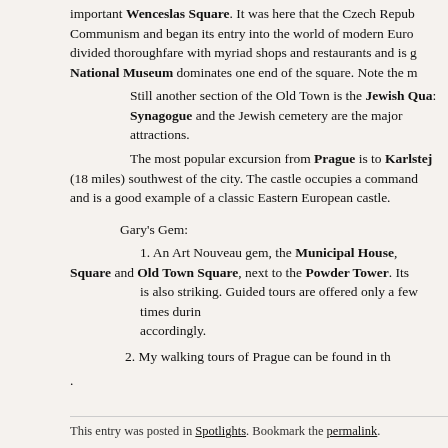important Wenceslas Square. It was here that the Czech Republic shed Communism and began its entry into the world of modern Europe. It is a divided thoroughfare with myriad shops and restaurants and is great fun. The National Museum dominates one end of the square. Note the museum.
Still another section of the Old Town is the Jewish Quarter. The Synagogue and the Jewish cemetery are the major attractions.
The most popular excursion from Prague is to Karlstejn Castle (18 miles) southwest of the city. The castle occupies a commanding position and is a good example of a classic Eastern European castle.
Gary's Gem:
1. An Art Nouveau gem, the Municipal House, between Republic Square and Old Town Square, next to the Powder Tower. Its interior is also striking. Guided tours are offered only a few times during the day, plan accordingly.
2. My walking tours of Prague can be found in the link below.
.
This entry was posted in Spotlights. Bookmark the permalink.